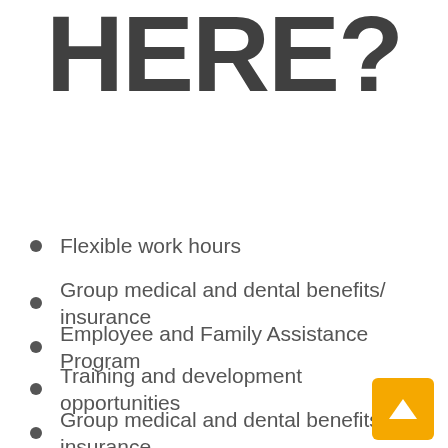WORK HERE?
Flexible work hours
Group medical and dental benefits/ insurance
Employee and Family Assistance Program
Training and development opportunities
Group medical and dental benefits/ insurance